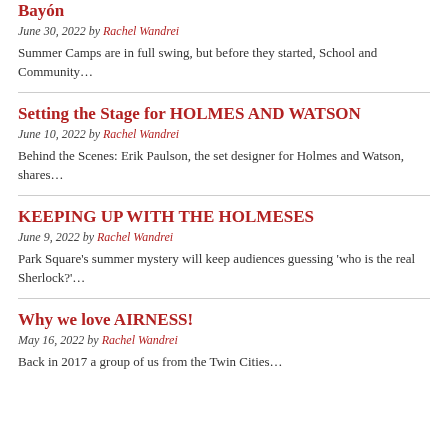Bayón
June 30, 2022 by Rachel Wandrei
Summer Camps are in full swing, but before they started, School and Community…
Setting the Stage for HOLMES AND WATSON
June 10, 2022 by Rachel Wandrei
Behind the Scenes: Erik Paulson, the set designer for Holmes and Watson, shares…
KEEPING UP WITH THE HOLMESES
June 9, 2022 by Rachel Wandrei
Park Square's summer mystery will keep audiences guessing 'who is the real Sherlock?'…
Why we love AIRNESS!
May 16, 2022 by Rachel Wandrei
Back in 2017 a group of us from the Twin Cities…